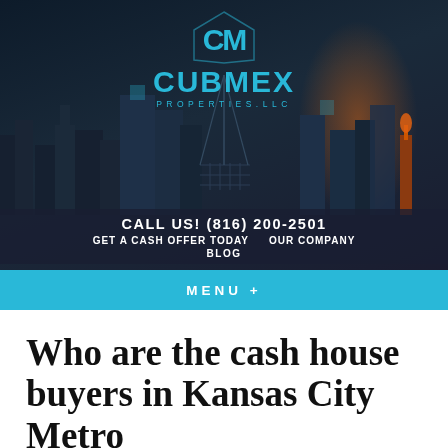[Figure (screenshot): Cubmex Properties LLC website header with logo, city skyline background, navigation bar with phone number, and menu toggle bar]
CALL US! (816) 200-2501
GET A CASH OFFER TODAY   OUR COMPANY
BLOG
MENU  +
Who are the cash house buyers in Kansas City Metro